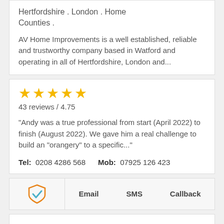Hertfordshire . London . Home Counties .
AV Home Improvements is a well established, reliable and trustworthy company based in Watford and operating in all of Hertfordshire, London and...
[Figure (other): Five gold star rating icons]
43 reviews / 4.75
"Andy was a true professional from start (April 2022) to finish (August 2022). We gave him a real challenge to build an "orangery" to a specific..."
Tel: 0208 4286 568   Mob: 07925 126 423
[Figure (other): Shield with checkmark icon in orange and blue]
Email   SMS   Callback
Orange Makeover (UK) Ltd...